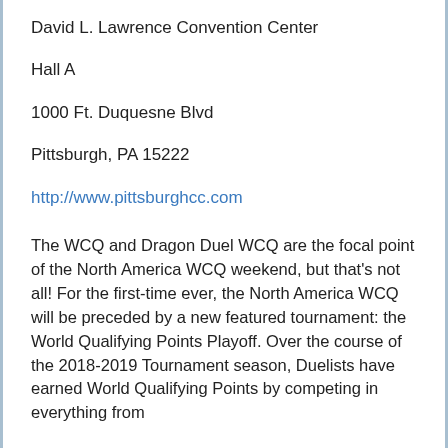David L. Lawrence Convention Center
Hall A
1000 Ft. Duquesne Blvd
Pittsburgh, PA 15222
http://www.pittsburghcc.com
The WCQ and Dragon Duel WCQ are the focal point of the North America WCQ weekend, but that's not all! For the first-time ever, the North America WCQ will be preceded by a new featured tournament: the World Qualifying Points Playoff. Over the course of the 2018-2019 Tournament season, Duelists have earned World Qualifying Points by competing in everything from